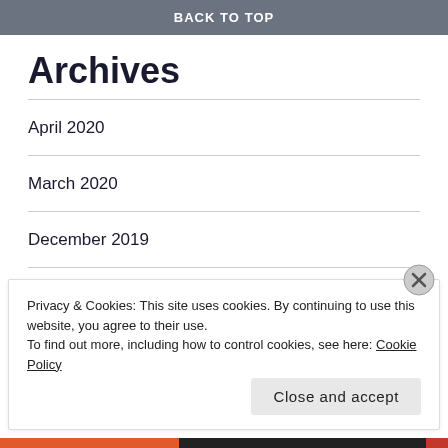BACK TO TOP
Archives
April 2020
March 2020
December 2019
November 2019
January 2012
Privacy & Cookies: This site uses cookies. By continuing to use this website, you agree to their use.
To find out more, including how to control cookies, see here: Cookie Policy
Close and accept